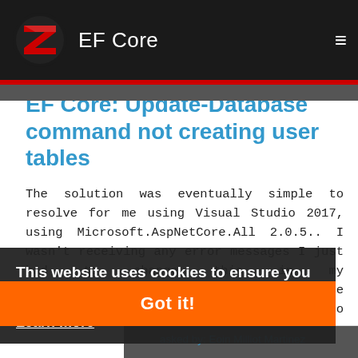EF Core
EF Core: Update-Database command not creating user tables
The solution was eventually simple to resolve for me using Visual Studio 2017, using Microsoft.AspNetCore.All 2.0.5.. I wasn't receiving any error messages I just had to change this in my ...appsettings.json.... I had to change "...Server=(localdb)\mssqllocaldb..." to this: "...Server=Localhost..." Then I ran the command, "...Update-Database..."
asp.net-core  c#  entity-framework-core
asked by: Eoin Milliot Martinez
This website uses cookies to ensure you get the best experience on our website. Learn more
Got it!